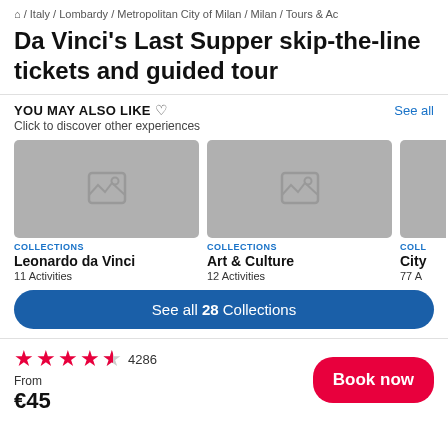⌂ / Italy / Lombardy / Metropolitan City of Milan / Milan / Tours & Ac
Da Vinci's Last Supper skip-the-line tickets and guided tour
YOU MAY ALSO LIKE ♡
Click to discover other experiences
See all
[Figure (screenshot): Placeholder image card for Leonardo da Vinci collection]
COLLECTIONS
Leonardo da Vinci
11 Activities
[Figure (screenshot): Placeholder image card for Art & Culture collection]
COLLECTIONS
Art & Culture
12 Activities
[Figure (screenshot): Placeholder image card for City collection (partially visible) - COLL, City, 77 A]
See all 28 Collections
4286
From
€45
Book now